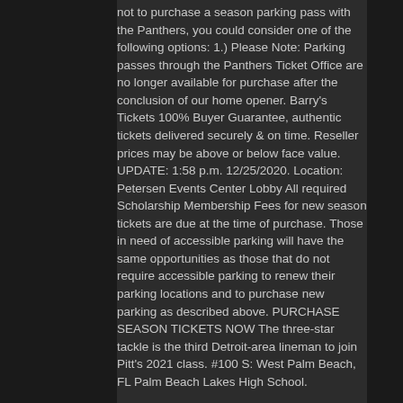not to purchase a season parking pass with the Panthers, you could consider one of the following options: 1.) Please Note: Parking passes through the Panthers Ticket Office are no longer available for purchase after the conclusion of our home opener. Barry's Tickets 100% Buyer Guarantee, authentic tickets delivered securely & on time. Reseller prices may be above or below face value. UPDATE: 1:58 p.m. 12/25/2020. Location: Petersen Events Center Lobby All required Scholarship Membership Fees for new season tickets are due at the time of purchase. Those in need of accessible parking will have the same opportunities as those that do not require accessible parking to renew their parking locations and to purchase new parking as described above. PURCHASE SEASON TICKETS NOW The three-star tackle is the third Detroit-area lineman to join Pitt's 2021 class. #100 S: West Palm Beach, FL Palm Beach Lakes High School.